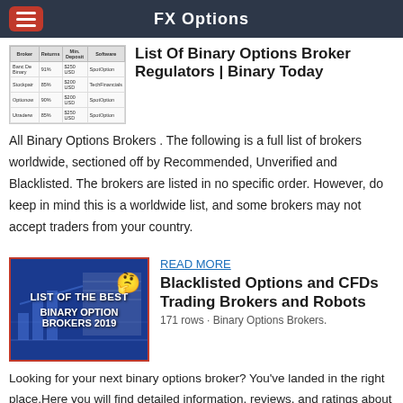FX Options
[Figure (table-as-image): Thumbnail of a broker comparison table with columns for Broker, Returns, Min. Deposit, and Software]
List Of Binary Options Broker Regulators | Binary Today
All Binary Options Brokers . The following is a full list of brokers worldwide, sectioned off by Recommended, Unverified and Blacklisted. The brokers are listed in no specific order. However, do keep in mind this is a worldwide list, and some brokers may not accept traders from your country.
[Figure (illustration): Thumbnail image with bold text: LIST OF THE BEST BINARY OPTION BROKERS 2019, with a thinking emoji face and background chart imagery, bordered in red]
READ MORE
Blacklisted Options and CFDs Trading Brokers and Robots
171 rows · Binary Options Brokers.
Looking for your next binary options broker? You've landed in the right place.Here you will find detailed information, reviews, and ratings about almost all binary options brokers in the industry… or at least the ones that matter enough. Whether you are new to binary